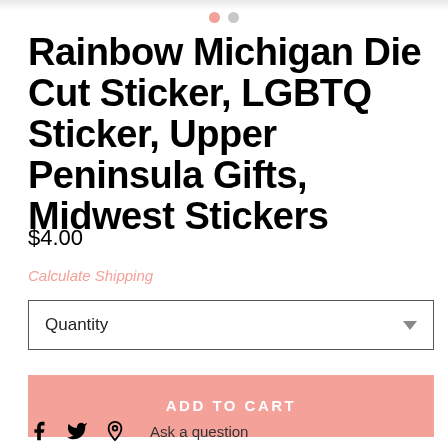[Figure (other): Top strip of a product image, partially cropped]
[Figure (other): Two navigation dots: one salmon/pink (active) and one gray]
Rainbow Michigan Die Cut Sticker, LGBTQ Sticker, Upper Peninsula Gifts, Midwest Stickers
$4.00
Calculate Shipping
Quantity
ADD TO CART
[Figure (other): Social sharing icons: Facebook, Twitter, Pinterest, and Ask a question link]